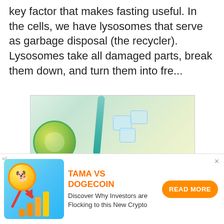key factor that makes fasting useful. In the cells, we have lysosomes that serve as garbage disposal (the recycler). Lysosomes take all damaged parts, break them down, and turn them into fre...
[Figure (photo): Two drinks with limes, mint and ice: a tall glass with a lime slice and green straw on the left, and a glass pitcher filled with water, ice cubes, lime and lemon slices on the right.]
[Figure (infographic): Advertisement banner: Tama vs Dogecoin crypto ad with a Shiba Inu dog coin logo, rising arrow and bar chart graphic, orange text 'TAMA VS DOGECOIN', description 'Discover Why Investors are Flocking to this New Crypto', and an orange 'READ MORE' button.]